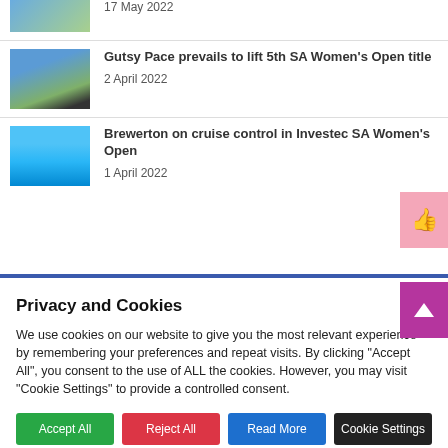[Figure (photo): Partial golf photo at top, cut off]
17 May 2022
[Figure (photo): Golfer on course with mountains in background]
Gutsy Pace prevails to lift 5th SA Women's Open title
2 April 2022
[Figure (photo): Golfer swinging club against blue sky]
Brewerton on cruise control in Investec SA Women's Open
1 April 2022
Privacy and Cookies
We use cookies on our website to give you the most relevant experience by remembering your preferences and repeat visits. By clicking "Accept All", you consent to the use of ALL the cookies. However, you may visit "Cookie Settings" to provide a controlled consent.